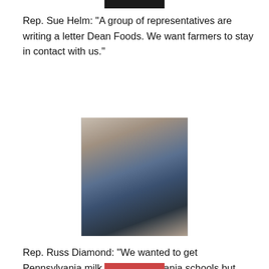[Figure (photo): Partial photo at top of page, cropped, showing dark background]
Rep. Sue Helm: “A group of representatives are writing a letter Dean Foods. We want farmers to stay in contact with us.”
[Figure (photo): Photo of Rep. Russ Diamond speaking at a microphone, wearing a dark blazer and blue shirt, gesturing with one hand]
Rep. Russ Diamond: “We wanted to get Pennsylvania milk into Pennsylvania schools but have been told that with the product stream in Pennsylvania, this is hard to do. This Pa. Milk Marketing Board issue is a hard issue to get to the bottom, and people get very protective of it.”
[Figure (photo): Partial photo at bottom of page, cropped, showing red/orange tones]